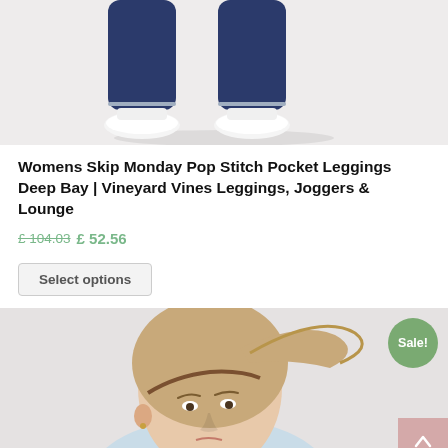[Figure (photo): Lower half of a woman wearing navy blue leggings and white slip-on sneakers, standing with legs apart against a light grey background.]
Womens Skip Monday Pop Stitch Pocket Leggings Deep Bay | Vineyard Vines Leggings, Joggers & Lounge
£ 104.03 £ 52.56
Select options
[Figure (photo): Woman with blonde hair in a high ponytail, wearing a light blue top, photographed from the shoulders up against a light grey background. A green 'Sale!' badge is visible in the top right corner.]